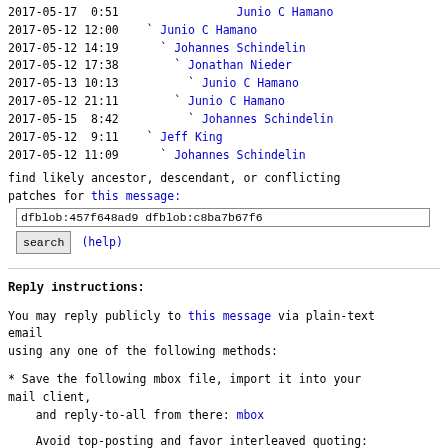2017-05-17  0:51    Junio C Hamano
2017-05-12 12:00  ` Junio C Hamano
2017-05-12 14:19    ` Johannes Schindelin
2017-05-12 17:38      ` Jonathan Nieder
2017-05-13 10:13        ` Junio C Hamano
2017-05-12 21:11      ` Junio C Hamano
2017-05-15  8:42        ` Johannes Schindelin
2017-05-12  9:11  ` Jeff King
2017-05-12 11:09    ` Johannes Schindelin
find likely ancestor, descendant, or conflicting patches for this message:
dfblob:457f648ad9 dfblob:c8ba7b67f6
search   (help)
Reply instructions:
You may reply publicly to this message via plain-text email
using any one of the following methods:
* Save the following mbox file, import it into your mail client,
   and reply-to-all from there: mbox
Avoid top-posting and favor interleaved quoting:
https://en.wikipedia.org/wiki/Posting_style#Interleaved_s